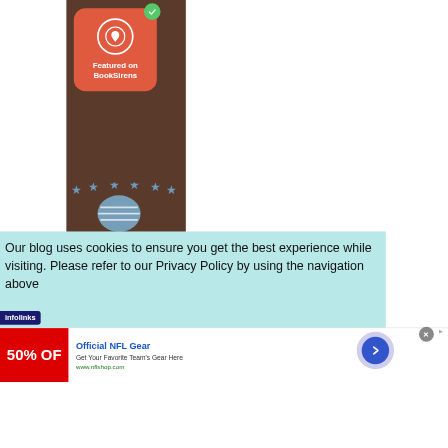[Figure (screenshot): BookSirens 'Featured on BookSirens' badge with red/orange rounded square background, white circular logo with butterfly/leaf icon, green checkmark circle overlay in top-right, plus partial stars and blue badge below, all on a dark brown background.]
Our blog uses cookies to ensure you get the best experience while visiting. Please refer to our Privacy Policy by using the navigation above
[Figure (logo): infolinks logo in dark blue/navy]
[Figure (screenshot): Advertisement for Official NFL Gear: '50% OFF' red image on left, title 'Official NFL Gear', subtitle 'Get Your Favorite Team's Gear Here', URL 'www.nflshop.com', close button (X), and a blue circular arrow navigation button on the right.]